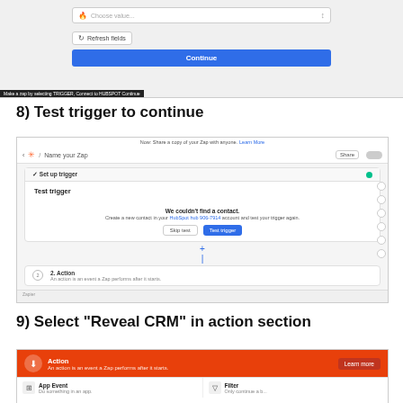[Figure (screenshot): Top portion of a Zapier UI showing a 'Choose value' dropdown field, a 'Refresh fields' button, and a blue 'Continue' button. A dark caption bar is visible at the bottom of the screenshot.]
8) Test trigger to continue
[Figure (screenshot): Zapier UI screenshot showing the 'Name your Zap' page with a 'Set up trigger' panel expanded. Inside is a 'Test trigger' section showing a message 'We couldn't find a contact. Create a new contact in your HubSpot hub 906-7914 account and test your trigger again.' with 'Skip test' and 'Test trigger' buttons. Below shows '2. Action' step.]
9) Select "Reveal CRM" in action section
[Figure (screenshot): Zapier UI showing the orange Action banner reading 'Action - An action is an event a Zap performs after it starts' with a 'Learn more' button, and below showing 'App Event' and 'Filter' options.]